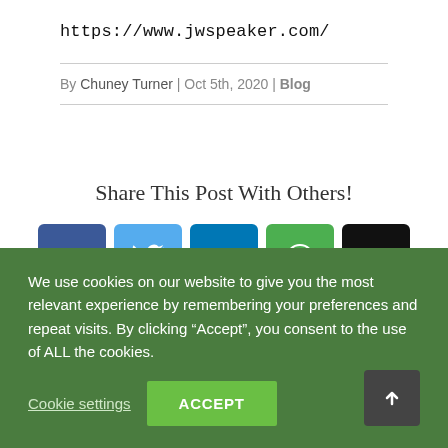https://www.jwspeaker.com/
By Chuney Turner | Oct 5th, 2020 | Blog
Share This Post With Others!
[Figure (infographic): Five social share buttons: Facebook (dark blue), Twitter (light blue), LinkedIn (medium blue), WhatsApp (green), Email (black)]
We use cookies on our website to give you the most relevant experience by remembering your preferences and repeat visits. By clicking “Accept”, you consent to the use of ALL the cookies.
Cookie settings  ACCEPT